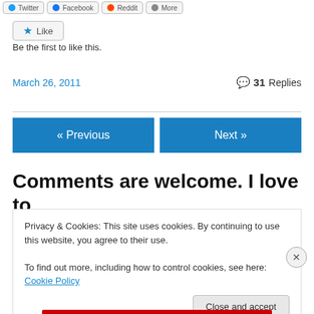[Figure (screenshot): Share buttons row: Twitter, Facebook, Reddit, More]
[Figure (screenshot): Like button with star icon]
Be the first to like this.
March 26, 2011
31 Replies
[Figure (screenshot): Navigation buttons: « Previous and Next »]
Comments are welcome. I love to hear what you think, but resist
Privacy & Cookies: This site uses cookies. By continuing to use this website, you agree to their use.
To find out more, including how to control cookies, see here: Cookie Policy
[Figure (screenshot): Close and accept button for cookie banner]